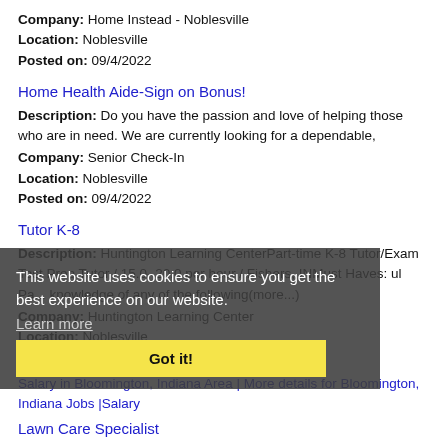Company: Home Instead - Noblesville
Location: Noblesville
Posted on: 09/4/2022
Home Health Aide-Sign on Bonus!
Description: Do you have the passion and love of helping those who are in need. We are currently looking for a dependable,
Company: Senior Check-In
Location: Noblesville
Posted on: 09/4/2022
Tutor K-8
Description: Huntington Learning CenterPart-time K-8 Tutor/Exam Test Prep Tutor / 15.0- 20.0 per hour / Fishers, INMust Haves: ul Pa... knowledge of any of the following(more...)
Company: Huntington Learning Center
Location: Noblesville
Posted on: 09/4/2022
[Figure (screenshot): Cookie consent overlay with dark semi-transparent background. Text reads 'This website uses cookies to ensure you get the best experience on our website.' with a 'Learn more' link and a yellow 'Got it!' button.]
Salary in Bloomington, Indiana Area | More details for Bloomington, Indiana Jobs |Salary
Lawn Care Specialist